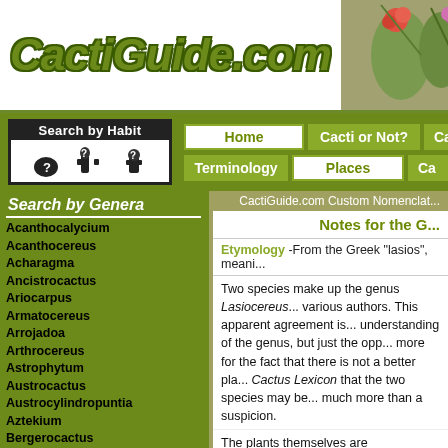CactiGuide.com
[Figure (photo): Photo of cacti with flowers, reddish-pink and purple blooms]
[Figure (infographic): Search by Habit box with silhouette cactus icons and question marks]
Home | Cacti or Not? | Ca...
Terminology | Places | Ca...
Search by Genera
Acanthocalycium
Acanthocereus
Acharagma
Ancistrocactus
Ariocarpus
Armatocereus
Arrojadoa
Arthrocereus
Astrophytum
Austrocactus
Austrocylindropuntia
Aztekium
Bergerocactus
Blossfeldia
Brachycereus
Brasilicereus
Brasiliopuntia
CactiGuide.com Custom Nomenclat...
Notes for the G...
Etymology -From the Greek "lasios", meani...
Two species make up the genus Lasiocereus... various authors. This apparent agreement is... understanding of the genus, but just the opp... more for the fact that there is not a better pla... Cactus Lexicon that the two species may be... much more than a suspicion.
The plants themselves are characterized by... closely-spaced areoles with spines that are c... the stems. Flowers come from woolly sectio... be a true cephalium. The flowers themselves... tubes feature both wool and bristles and are... with flowers of similar plants...